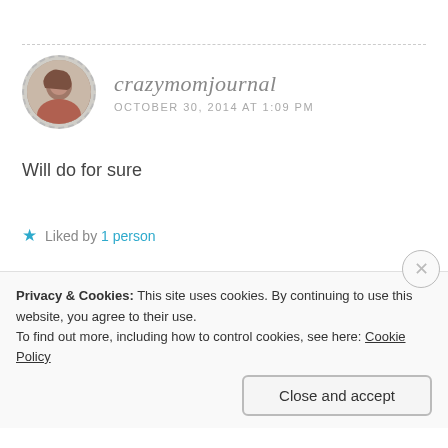crazymomjournal
OCTOBER 30, 2014 AT 1:09 PM
Will do for sure
★ Liked by 1 person
Reply
Privacy & Cookies: This site uses cookies. By continuing to use this website, you agree to their use.
To find out more, including how to control cookies, see here: Cookie Policy
Close and accept